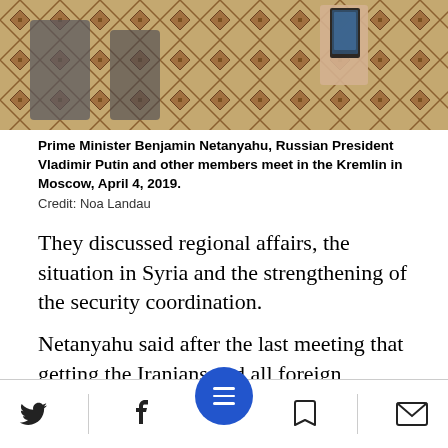[Figure (photo): Photo of Prime Minister Benjamin Netanyahu and Russian President Vladimir Putin meeting in the Kremlin in Moscow, showing a decorative carpet and someone taking a photo with a smartphone.]
Prime Minister Benjamin Netanyahu, Russian President Vladimir Putin and other members meet in the Kremlin in Moscow, April 4, 2019.
Credit: Noa Landau
They discussed regional affairs, the situation in Syria and the strengthening of the security coordination.
Netanyahu said after the last meeting that getting the Iranians and all foreign fighters out of Syria is also one of Russia's stated goals. A diplomatic source added that Putin did not place limitations on Israel's actions in Syria.
Social share bar with Twitter, Facebook, menu, bookmark, and email icons